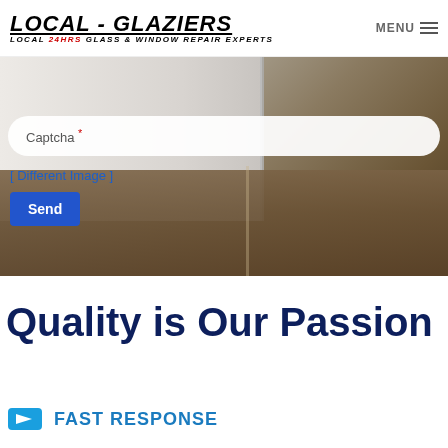[Figure (logo): Local-Glaziers logo with text 'LOCAL - GLAZIERS' in bold italic and subtitle 'LOCAL 24HRS GLASS & WINDOW REPAIR EXPERTS']
MENU
[Figure (photo): Background photo of a room interior with white door and wooden floor]
Captcha *
[ Different Image ]
Send
Quality is Our Passion
FAST RESPONSE